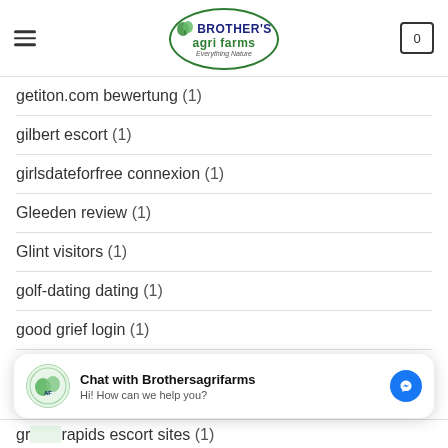Brother's Agri Farms - Everything Nature
getiton.com bewertung (1)
gilbert escort (1)
girlsdateforfree connexion (1)
Gleeden review (1)
Glint visitors (1)
golf-dating dating (1)
good grief login (1)
Good Grief reviews (1)
grand rapids escort sites (1)